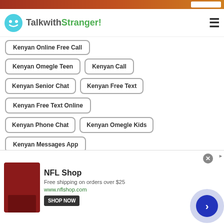[Figure (screenshot): Top banner image strip with reddish/orange gradient and a white box on right]
TalkwithStranger!
Kenyan Online Free Call
Kenyan Omegle Teen
Kenyan Call
Kenyan Senior Chat
Kenyan Free Text
Kenyan Free Text Online
Kenyan Phone Chat
Kenyan Omegle Kids
Kenyan Messages App
Kenyan Free Texting Online
Kenyan Arab Chat
Kenyan Omegle Com
[Figure (screenshot): NFL Shop advertisement banner with shop now button]